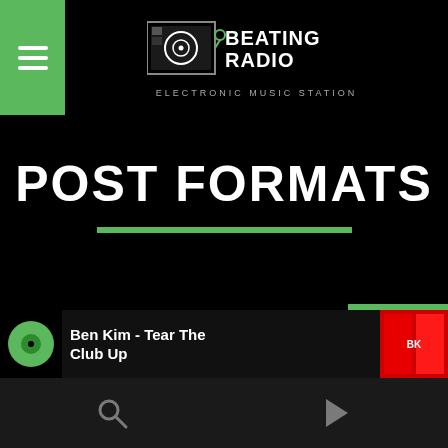[Figure (logo): Beating Radio logo with turntable icon and text BEATING RADIO, subtitle ELECTRONIC MUSIC STATION]
POST FORMATS
[Figure (infographic): Social media icons row: Facebook, Twitter, Pinterest, LinkedIn, WhatsApp in white circle outlines; green heart/favorite button with circle icon on right]
Beatingradio - Electronic Music Station
[Figure (infographic): Equalizer bars animation with number 19]
Ben Kim - Tear The Club Up
[Figure (infographic): Bottom toolbar with search icon and play button icon]